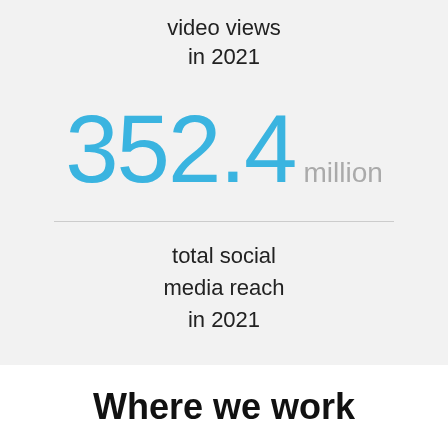video views in 2021
352.4 million
total social media reach in 2021
Where we work